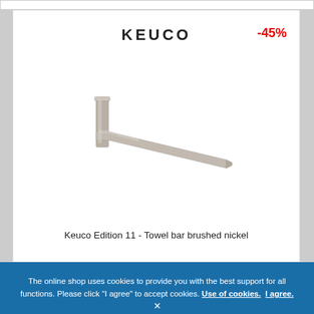[Figure (logo): KEUCO brand logo in bold black uppercase letters]
-45%
[Figure (photo): Keuco Edition 11 towel bar in brushed nickel finish, L-shaped bar photographed at an angle on white background]
Keuco Edition 11 - Towel bar brushed nickel
The online shop uses cookies to provide you with the best support for all functions. Please click "I agree" to accept cookies. Use of cookies. I agree.